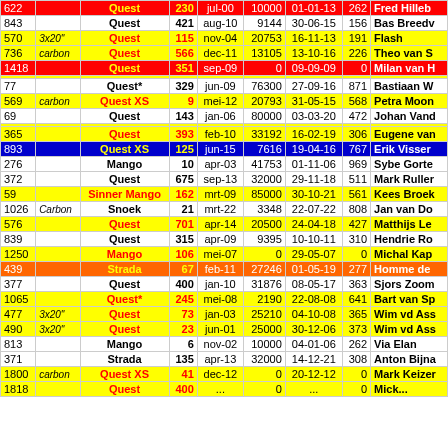| ID | Tag | Model | # | Date | KM | Date2 | N | Name |
| --- | --- | --- | --- | --- | --- | --- | --- | --- |
| 622 |  | Quest | 230 | jul-00 | 10000 | 01-01-13 | 262 | Fred Hilleb... |
| 843 |  | Quest | 421 | aug-10 | 9144 | 30-06-15 | 156 | Bas Breedv... |
| 570 | 3x20" | Quest | 115 | nov-04 | 20753 | 16-11-13 | 191 | Flash |
| 736 | carbon | Quest | 566 | dec-11 | 13105 | 13-10-16 | 226 | Theo van S... |
| 1418 |  | Quest | 351 | sep-09 | 0 | 09-09-09 | 0 | Milan van H... |
|  |  |  |  |  |  |  |  |  |
| 77 |  | Quest* | 329 | jun-09 | 76300 | 27-09-16 | 871 | Bastiaan W... |
| 569 | carbon | Quest XS | 9 | mei-12 | 20793 | 31-05-15 | 568 | Petra Moon... |
| 69 |  | Quest | 143 | jan-06 | 80000 | 03-03-20 | 472 | Johan Vand... |
|  |  |  |  |  |  |  |  |  |
| 365 |  | Quest | 393 | feb-10 | 33192 | 16-02-19 | 306 | Eugene van... |
| 893 |  | Quest XS | 125 | jun-15 | 7616 | 19-04-16 | 767 | Erik Visser |
| 276 |  | Mango | 10 | apr-03 | 41753 | 01-11-06 | 969 | Sybe Gorte... |
| 372 |  | Quest | 675 | sep-13 | 32000 | 29-11-18 | 511 | Mark Ruller... |
| 59 |  | Sinner Mango | 162 | mrt-09 | 85000 | 30-10-21 | 561 | Kees Broek... |
| 1026 | Carbon | Snoek | 21 | mrt-22 | 3348 | 22-07-22 | 808 | Jan van Do... |
| 576 |  | Quest | 701 | apr-14 | 20500 | 24-04-18 | 427 | Matthijs Le... |
| 839 |  | Quest | 315 | apr-09 | 9395 | 10-10-11 | 310 | Hendrie Ro... |
| 1250 |  | Mango | 106 | mei-07 | 0 | 29-05-07 | 0 | Michal Kap... |
| 439 |  | Strada | 67 | feb-11 | 27246 | 01-05-19 | 277 | Homme de... |
| 377 |  | Quest | 400 | jan-10 | 31876 | 08-05-17 | 363 | Sjors Zoom... |
| 1065 |  | Quest* | 245 | mei-08 | 2190 | 22-08-08 | 641 | Bart van Sp... |
| 477 | 3x20" | Quest | 73 | jan-03 | 25210 | 04-10-08 | 365 | Wim vd Ass... |
| 490 | 3x20" | Quest | 23 | jun-01 | 25000 | 30-12-06 | 373 | Wim vd Ass... |
| 813 |  | Mango | 6 | nov-02 | 10000 | 04-01-06 | 262 | Via Elan |
| 371 |  | Strada | 135 | apr-13 | 32000 | 14-12-21 | 308 | Anton Bijna... |
| 1800 | carbon | Quest XS | 41 | dec-12 | 0 | 20-12-12 | 0 | Mark Keizer... |
| 1818 |  | Quest | 400 | ... | 0 | ... | 0 | Mick... |